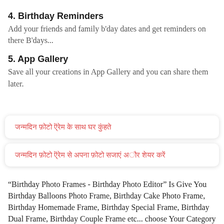4. Birthday Reminders
Add your friends and family b'day dates and get reminders on there B'days...
5. App Gallery
Save all your creations in App Gallery and you can share them later.
[Hindi text in card 1 - Devanagari script]
[Hindi text in card 2 - Devanagari script]
"Birthday Photo Frames - Birthday Photo Editor" Is Give You Birthday Balloons Photo Frame, Birthday Cake Photo Frame, Birthday Homemade Frame, Birthday Special Frame, Birthday Dual Frame, Birthday Couple Frame etc... choose Your Category